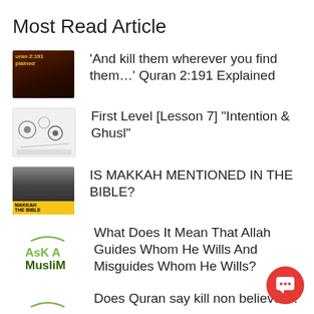Most Read Article
'And kill them wherever you find them…' Quran 2:191 Explained
First Level [Lesson 7] "Intention & Ghusl"
IS MAKKAH MENTIONED IN THE BIBLE?
What Does It Mean That Allah Guides Whom He Wills And Misguides Whom He Wills?
Does Quran say kill non believers?
Why Allah says in Quran "We the Qur'an?